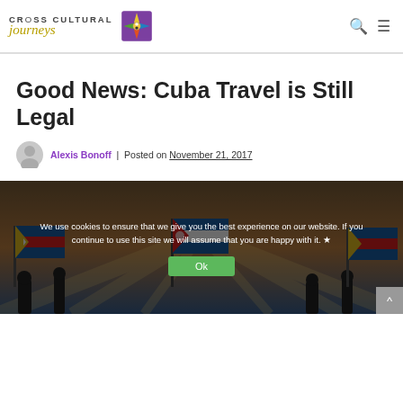Cross Cultural Journeys
Good News: Cuba Travel is Still Legal
Alexis Bonoff | Posted on November 21, 2017
[Figure (photo): Cuba flags waving against a sunset sky, with cookie consent banner overlay reading: We use cookies to ensure that we give you the best experience on our website. If you continue to use this site we will assume that you are happy with it. [Ok button]]
We use cookies to ensure that we give you the best experience on our website. If you continue to use this site we will assume that you are happy with it.